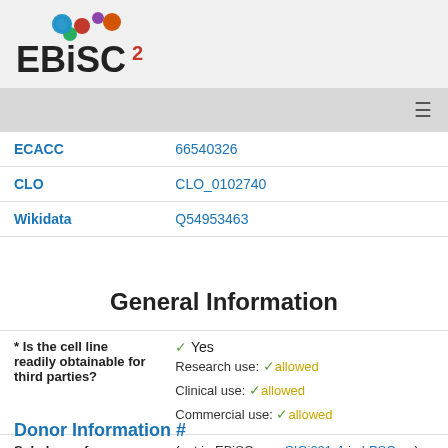[Figure (logo): EBiSC2 logo with colorful circles above the text]
≡
| Field | Value |
| --- | --- |
| ECACC | 66540326 |
| CLO | CLO_0102740 |
| Wikidata | Q54953463 |
General Information
| Field | Value |
| --- | --- |
| * Is the cell line readily obtainable for third parties? | ✓ Yes
Research use: ✓ allowed
Clinical use: ✓ allowed
Commercial use: ✓ allowed |
| Subclone of | (not in EBiSC, see SIGi001-A in hPSCreg) |
Donor Information #